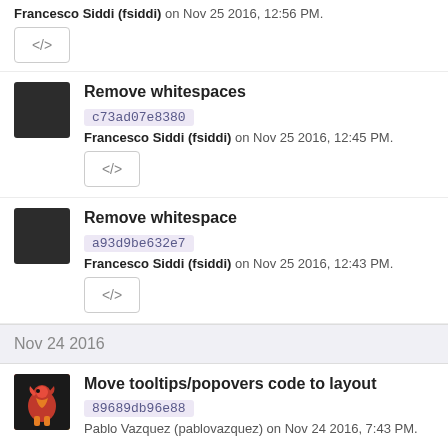Francesco Siddi (fsiddi) on Nov 25 2016, 12:56 PM.
[Figure (screenshot): Code button with </> icon]
Remove whitespaces
c73ad07e8380
Francesco Siddi (fsiddi) on Nov 25 2016, 12:45 PM.
[Figure (screenshot): Code button with </> icon]
Remove whitespace
a93d9be632e7
Francesco Siddi (fsiddi) on Nov 25 2016, 12:43 PM.
[Figure (screenshot): Code button with </> icon]
Nov 24 2016
Move tooltips/popovers code to layout
89689db96e88
Pablo Vazquez (pablovazquez) on Nov 24 2016, 7:43 PM.